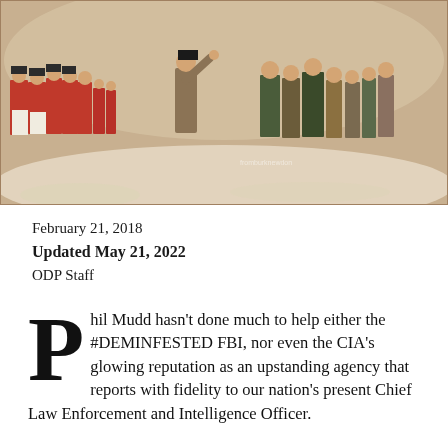[Figure (illustration): Historical painting depicting Revolutionary War era soldiers, British redcoats on the left and American colonial figures on the right in a wintry outdoor scene. A watermark reads 'fromburknewdon' or similar.]
February 21, 2018
Updated May 21, 2022
ODP Staff
Phil Mudd hasn't done much to help either the #DEMINFESTED FBI, nor even the CIA's glowing reputation as an upstanding agency that reports with fidelity to our nation's present Chief Law Enforcement and Intelligence Officer.